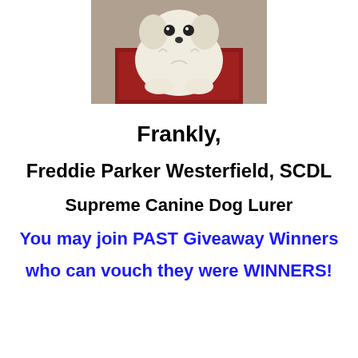[Figure (photo): A small white fluffy dog (likely a Maltese or Shih Tzu) looking up at the camera, sitting on a red surface, viewed from above.]
Frankly,
Freddie Parker Westerfield, SCDL
Supreme Canine Dog Lurer
You may join PAST Giveaway Winners
who can vouch they were WINNERS!